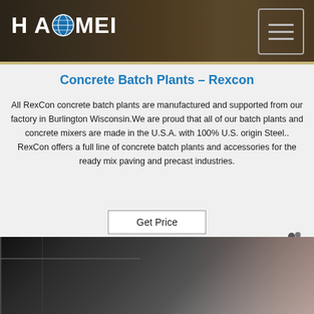[Figure (photo): Website header banner with HAOMEI logo on dark brown/black background with construction equipment silhouettes and a hamburger menu icon in top right]
Concrete Batch Plants – Rexcon
All RexCon concrete batch plants are manufactured and supported from our factory in Burlington Wisconsin.We are proud that all of our batch plants and concrete mixers are made in the U.S.A. with 100% U.S. origin Steel.. RexCon offers a full line of concrete batch plants and accessories for the ready mix paving and precast industries.
Get Price
[Figure (photo): Partial view of a concrete batch plant or industrial structure, dark photo showing metal framework and structure]